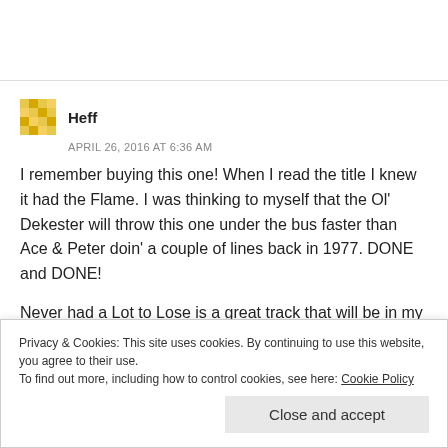Heff
APRIL 26, 2016 AT 6:36 AM
I remember buying this one! When I read the title I knew it had the Flame. I was thinking to myself that the Ol' Dekester will throw this one under the bus faster than Ace & Peter doin' a couple of lines back in 1977. DONE and DONE!
Never had a Lot to Lose is a great track that will be in my
Privacy & Cookies: This site uses cookies. By continuing to use this website, you agree to their use. To find out more, including how to control cookies, see here: Cookie Policy
Close and accept